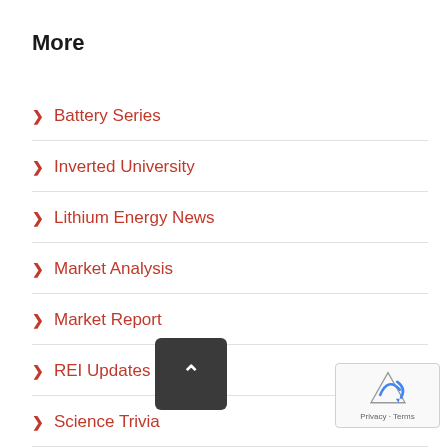More
Battery Series
Inverted University
Lithium Energy News
Market Analysis
Market Report
REI Updates
Science Trivia
Uncategorized